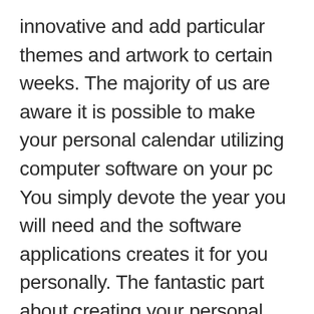innovative and add particular themes and artwork to certain weeks. The majority of us are aware it is possible to make your personal calendar utilizing computer software on your pc You simply devote the year you will need and the software applications creates it for you personally. The fantastic part about creating your personal calendar is you are able to enhance individual times with party topics or birthday images in order that they stand out. Just take a glance at your nearest shopping mall and you are going to observe the large numbers of annual calendars which are being exposed on the market. If you're buying traditional regular monthly or every year 2017 calendar you might have a glance at our Online Calendar/ site. So, it is possible